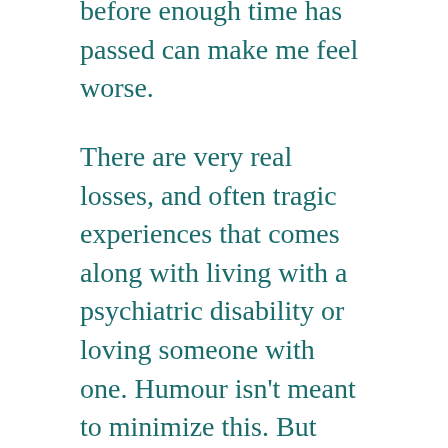before enough time has passed can make me feel worse.
There are very real losses, and often tragic experiences that comes along with living with a psychiatric disability or loving someone with one. Humour isn't meant to minimize this. But humor, appropriately timed, well placed can go a long way to help heal.
Go by the old adage: “Comedy is tragedy plus time” (a quote attributed to Mark Twain, Carol